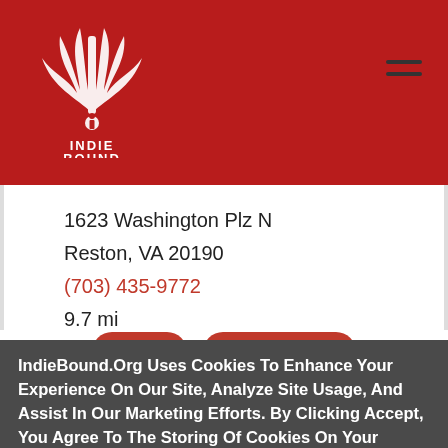[Figure (logo): IndieBound logo: stylized book/feather graphic in white on red background with text INDIE BOUND below]
1623 Washington Plz N
Reston, VA 20190
(703) 435-9772
9.7 mi
IndieBound.Org Uses Cookies To Enhance Your Experience On Our Site, Analyze Site Usage, And Assist In Our Marketing Efforts. By Clicking Accept, You Agree To The Storing Of Cookies On Your Device. View Our Cookie Policy.
Give me more info
Accept all Cookies